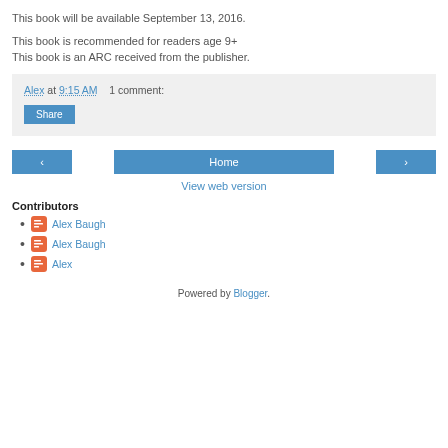This book will be available September 13, 2016.
This book is recommended for readers age 9+
This book is an ARC received from the publisher.
Alex at 9:15 AM    1 comment:
Share
[Figure (screenshot): Navigation buttons: left arrow, Home, right arrow]
View web version
Contributors
Alex Baugh
Alex Baugh
Alex
Powered by Blogger.